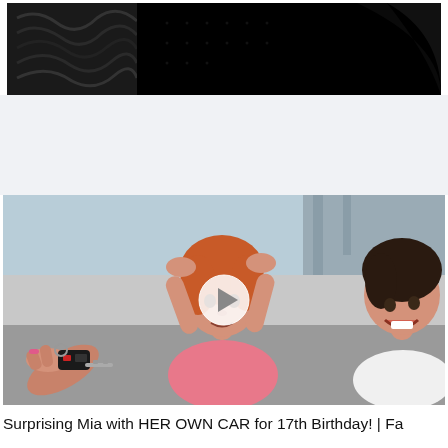[Figure (photo): Dark banner image at top with black background and abstract wavy pattern on the left side]
[Figure (photo): Video thumbnail showing a young red-haired woman in a pink top with hands on her head looking surprised, another woman laughing on the right, and a hand holding car keys on the left. A white play button circle is overlaid in the center.]
Surprising Mia with HER OWN CAR for 17th Birthday! | Fa